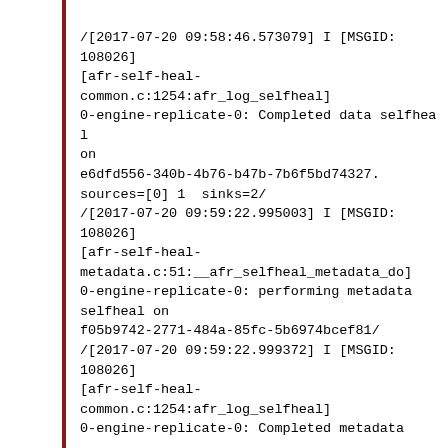/[2017-07-20 09:58:46.573079] I [MSGID: 108026]
[afr-self-heal-common.c:1254:afr_log_selfheal]
0-engine-replicate-0: Completed data selfheal on
e6dfd556-340b-4b76-b47b-7b6f5bd74327.
sources=[0] 1  sinks=2/
/[2017-07-20 09:59:22.995003] I [MSGID: 108026]
[afr-self-heal-metadata.c:51:__afr_selfheal_metadata_do]
0-engine-replicate-0: performing metadata selfheal on
f05b9742-2771-484a-85fc-5b6974bcef81/
/[2017-07-20 09:59:22.999372] I [MSGID: 108026]
[afr-self-heal-common.c:1254:afr_log_selfheal]
0-engine-replicate-0: Completed metadata